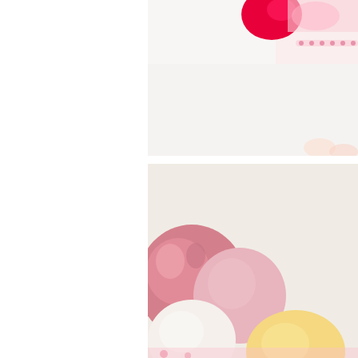[Figure (photo): Top photograph showing partial view of a child with red/pink decorations and a watermark overlay reading 'amy clemons photography']
[Figure (photo): Bottom photograph showing pink, white, cream/yellow balloons against a light beige background with pink decorations at bottom edge]